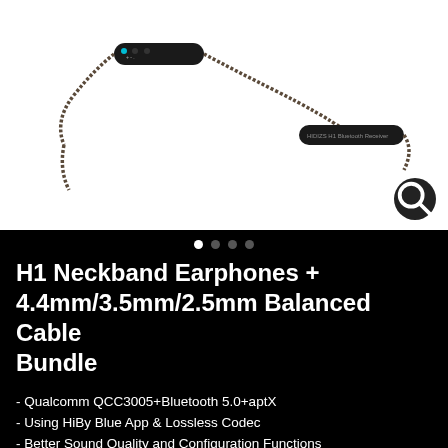[Figure (photo): Product photo of HIDIZS H1 Bluetooth neckband adapter with braided cable on white background]
H1 Neckband Earphones + 4.4mm/3.5mm/2.5mm Balanced Cable Bundle
- Qualcomm QCC3005+Bluetooth 5.0+aptX
- Using HiBy Blue App & Lossless Codec
- Better Sound Quality and Configuration Functions
- IPX5 for Dust, Oil and Sweat Resistant & Gold-Plated 0.78mm 2 Pins